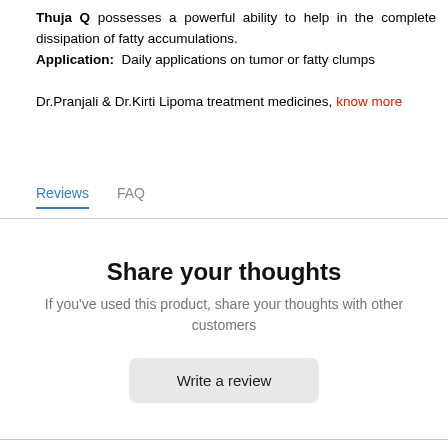Thuja Q possesses a powerful ability to help in the complete dissipation of fatty accumulations. Application: Daily applications on tumor or fatty clumps
Dr.Pranjali & Dr.Kirti Lipoma treatment medicines, know more
Reviews   FAQ
Share your thoughts
If you've used this product, share your thoughts with other customers
Write a review